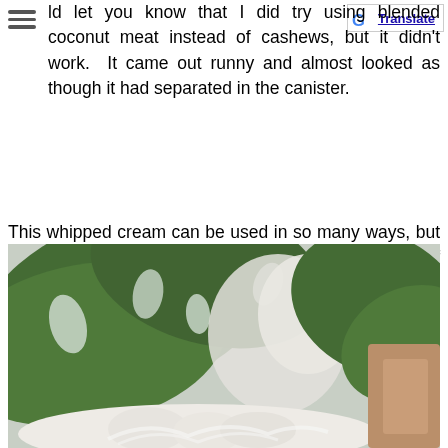ld let you know that I did try using blended coconut meat instead of cashews, but it didn't work. It came out runny and almost looked as though it had separated in the canister.
This whipped cream can be used in so many ways, but one of my all-time favorite ways is on top of a mug of warm hot chocolate. It is rich, creamy, and delicious. I hope you enjoy the recipe and have a blessed day, amie sue
[Figure (photo): A blurred close-up photograph showing large tropical green leaves (monstera), a white mug or ceramic vessel, and what appears to be whipped cream in the foreground, with warm brown tones visible on the right side.]